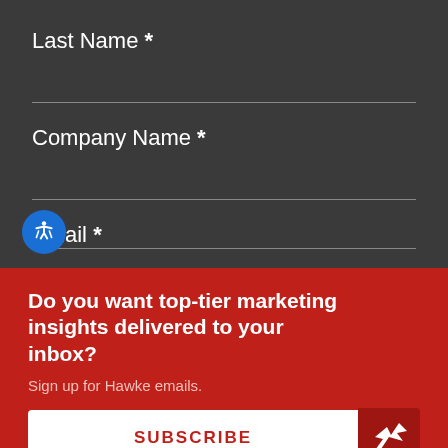Last Name *
Company Name *
Email *
Do you want top-tier marketing insights delivered to your inbox?
Sign up for Hawke emails.
SUBSCRIBE